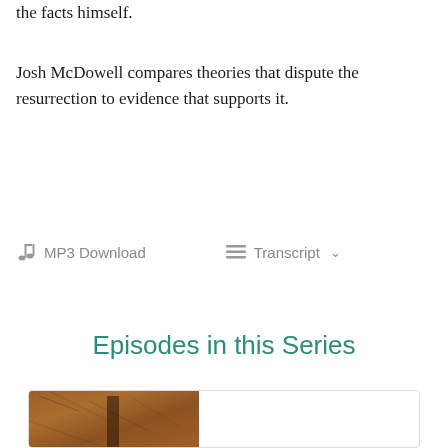the facts himself.
Josh McDowell compares theories that dispute the resurrection to evidence that supports it.
🎵 MP3 Download   ≡ Transcript ∨
Episodes in this Series
[Figure (photo): Thumbnail image of an episode card showing a textured brown/orange stone surface]